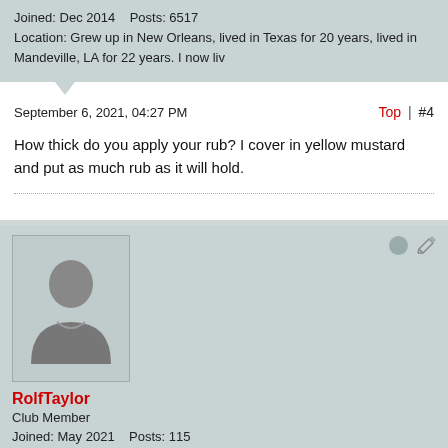Joined: Dec 2014    Posts: 6517
Location: Grew up in New Orleans, lived in Texas for 20 years, lived in Mandeville, LA for 22 years. I now liv
September 6, 2021, 04:27 PM
Top | #4
How thick do you apply your rub? I cover in yellow mustard and put as much rub as it will hold.
[Figure (illustration): Generic user avatar silhouette (grey person icon on light teal background)]
RolfTaylor
Club Member
Joined: May 2021    Posts: 115
Location: Springfield Virginia (DC area)
September 6, 2021, 04:34 PM
Top | #5